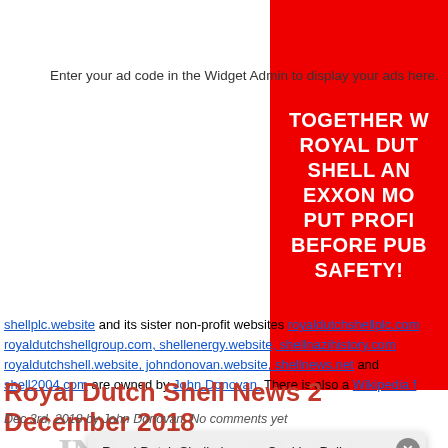[Figure (other): Red banner advertisement with white bold text: TOGETHER W / ROYAL DUT / SHELL AN / EXXON MO / PUT PROFI / BEFORE PUB / SAFETY!]
Enter your ad code in the Widget Admin to display your ads here.
shellplc.website and its sister non-profit websites royaldutchshellplc.com royaldutchshellgroup.com, shellenergy.website, shellnazihistory.com royaldutchshell.website, johndonovan.website, shellnews.net and shell2004.com are owned by John Donovan. There is also a Wikipedia f
Royal Dutch Shell News 2 December 2018
Dec 3rd, 2018 by John Donovan. No comments yet
[Figure (other): Financial Times newspaper heading background (large grey text)]
Royal Dutch Shell plc .com Cookies Policy
Our Website uses cookies to improve your experience. Please visit our Privacy page for more information about cookies and how we use them.